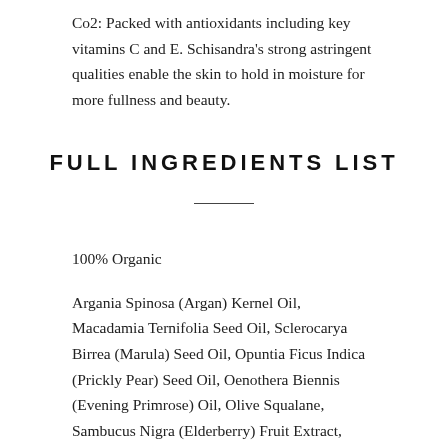Co2: Packed with antioxidants including key vitamins C and E. Schisandra's strong astringent qualities enable the skin to hold in moisture for more fullness and beauty.
FULL INGREDIENTS LIST
100% Organic
Argania Spinosa (Argan) Kernel Oil, Macadamia Ternifolia Seed Oil, Sclerocarya Birrea (Marula) Seed Oil, Opuntia Ficus Indica (Prickly Pear) Seed Oil, Oenothera Biennis (Evening Primrose) Oil, Olive Squalane, Sambucus Nigra (Elderberry) Fruit Extract, Helianthus Annuus (Sunflower) Seed Oil, Ribes Nigrum (Black Currant) Fruit Extract, Schisandra